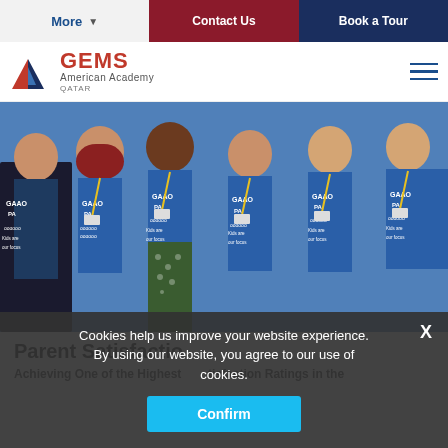More  |  Contact Us  |  Book a Tour
[Figure (logo): GEMS American Academy Qatar logo with triangular red/blue emblem]
[Figure (photo): Group photo of six women wearing blue GAPO PA t-shirts with 'Kids are our focus' text and yellow lanyards, standing together at an event]
Parent Satisfaction
Achieving One of the Highest Parent Satisfaction Ratings in the
Cookies help us improve your website experience. By using our website, you agree to our use of cookies.
Confirm